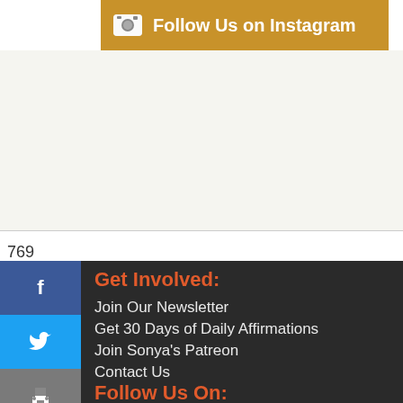[Figure (infographic): Follow Us on Instagram banner with camera icon on golden/amber background]
769
[Figure (infographic): Social media sidebar buttons: Facebook (blue), Twitter (cyan), Print (gray), Email (gray)]
Get Involved:
Join Our Newsletter
Get 30 Days of Daily Affirmations
Join Sonya's Patreon
Contact Us
Follow Us On: